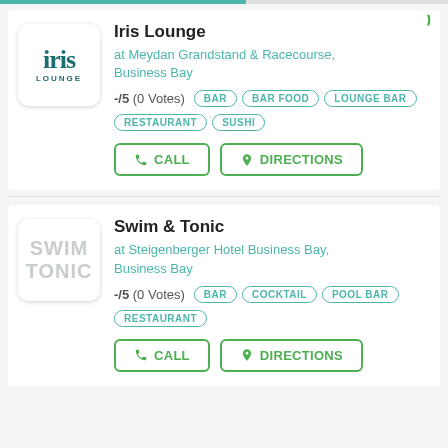Iris Lounge
at Meydan Grandstand & Racecourse, Business Bay
-/5 (0 Votes)  BAR  BAR FOOD  LOUNGE BAR  RESTAURANT  SUSHI
Swim & Tonic
at Steigenberger Hotel Business Bay, Business Bay
-/5 (0 Votes)  BAR  COCKTAIL  POOL BAR  RESTAURANT